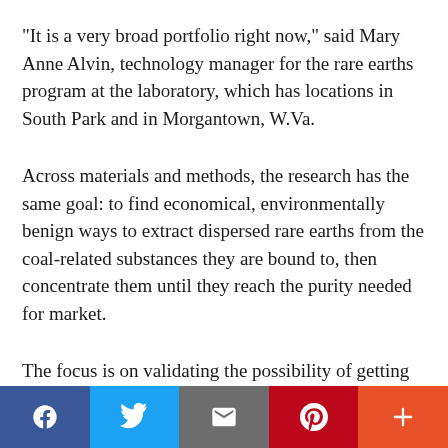"It is a very broad portfolio right now," said Mary Anne Alvin, technology manager for the rare earths program at the laboratory, which has locations in South Park and in Morgantown, W.Va.
Across materials and methods, the research has the same goal: to find economical, environmentally benign ways to extract dispersed rare earths from the coal-related substances they are bound to, then concentrate them until they reach the purity needed for market.
The focus is on validating the possibility of getting to
[Figure (other): Social media sharing bar with buttons for Facebook, Twitter, Email, Pinterest, and More (+)]